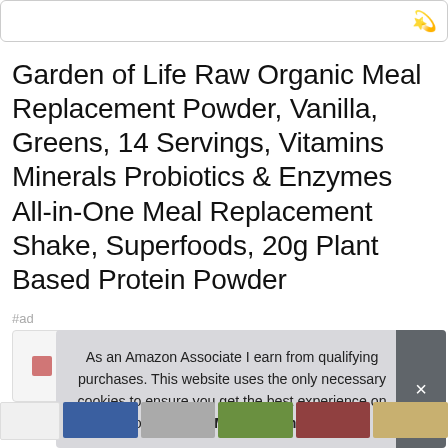[Figure (screenshot): Partial product image bar with share icon at top of page]
Garden of Life Raw Organic Meal Replacement Powder, Vanilla, Greens, 14 Servings, Vitamins Minerals Probiotics & Enzymes All-in-One Meal Replacement Shake, Superfoods, 20g Plant Based Protein Powder
#ad
As an Amazon Associate I earn from qualifying purchases. This website uses the only necessary cookies to ensure you get the best experience on our website. More information